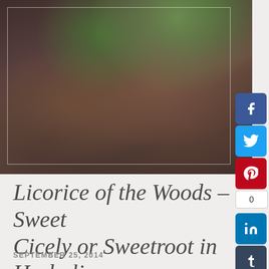[Figure (photo): Close-up macro photograph of a plant with dark textured bark/root and green spiky leaves/fronds, with a white border overlay on the image]
Licorice of the Woods – Sweet Cicely or Sweetroot in Herbalism
SEPTEMBER 25, 2014